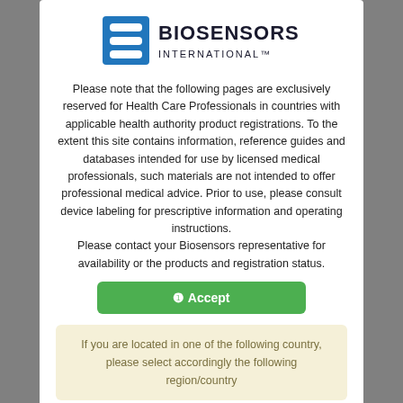[Figure (logo): Biosensors International logo with blue stylized 'B' icon and company name in dark text]
Please note that the following pages are exclusively reserved for Health Care Professionals in countries with applicable health authority product registrations. To the extent this site contains information, reference guides and databases intended for use by licensed medical professionals, such materials are not intended to offer professional medical advice. Prior to use, please consult device labeling for prescriptive information and operating instructions.
Please contact your Biosensors representative for availability or the products and registration status.
❶ Accept
If you are located in one of the following country, please select accordingly the following region/country